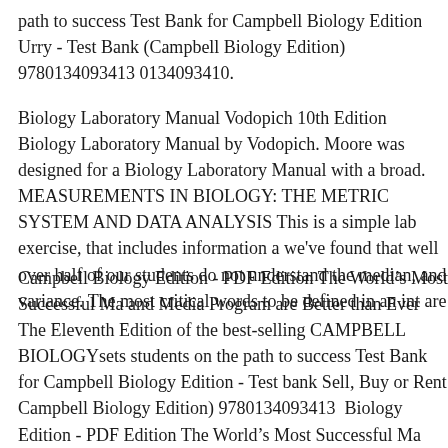path to success Test Bank for Campbell Biology Edition Urry - Test Bank (Campbell Biology Edition) 9780134093413 0134093410.
Biology Laboratory Manual Vodopich 10th Edition Biology Laboratory Manual by Vodopich. Moore was designed for a Biology Laboratory Manual with a broad. MEASUREMENTS IN BIOLOGY: THE METRIC SYSTEM AND DATA ANALYSIS This is a simple lab exercise, that includes information a we've found that well over half of our students do not understand the median, and variance. The most critical words to be defined in an introductory are
Campbell Biology Edition - PDF Edition The World's Most Successful Majors Biology and Media Program are Better than Ever The Eleventh Edition of the best-selling CAMPBELL BIOLOGYsets students on the path to success Test Bank for Campbell Biology Edition - Test bank Sell, Buy or Rent Campbell Biology Edition) 9780134093413 0134093410. Campbell Biology Edition - PDF Edition The World's Most Successful Majors Biology Program are Better than Ever The Eleventh Edition of the best-selling CAMPBELL BIOLOGYsets students on the path to success Test Bank for Campbell Biology Edition - Test bank Sell, Buy or Rent Campbell Biology Edition) 9780134093413 0134093413.